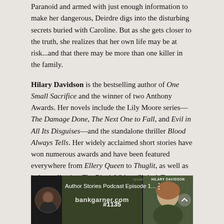Paranoid and armed with just enough information to make her dangerous, Deirdre digs into the disturbing secrets buried with Caroline. But as she gets closer to the truth, she realizes that her own life may be at risk...and that there may be more than one killer in the family.
Hilary Davidson is the bestselling author of One Small Sacrifice and the winner of two Anthony Awards. Her novels include the Lily Moore series—The Damage Done, The Next One to Fall, and Evil in All Its Disguises—and the standalone thriller Blood Always Tells. Her widely acclaimed short stories have won numerous awards and have been featured everywhere from Ellery Queen to Thuglit, as well as in her collection The Black Widow Club. A Toronto-born travel journalist who's lived in New York City since October 2001, Davidson is also the author of eighteen nonfiction books. Visit her online at www.hilarydavidson.com.
[Figure (screenshot): YouTube video thumbnail for 'Author Stories Podcast Episode 1... #1135' featuring bankgarner.com branding and a photo of Hilary Davidson]